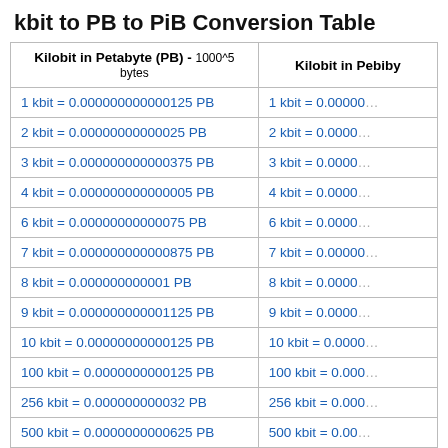kbit to PB to PiB Conversion Table
| Kilobit in Petabyte (PB) - 1000^5 bytes | Kilobit in Pebibyte (PiB) |
| --- | --- |
| 1 kbit = 0.000000000000125 PB | 1 kbit = 0.00000... |
| 2 kbit = 0.00000000000025 PB | 2 kbit = 0.0000... |
| 3 kbit = 0.000000000000375 PB | 3 kbit = 0.0000... |
| 4 kbit = 0.000000000000005 PB | 4 kbit = 0.0000... |
| 6 kbit = 0.00000000000075 PB | 6 kbit = 0.0000... |
| 7 kbit = 0.000000000000875 PB | 7 kbit = 0.00000... |
| 8 kbit = 0.000000000001 PB | 8 kbit = 0.0000... |
| 9 kbit = 0.000000000001125 PB | 9 kbit = 0.0000... |
| 10 kbit = 0.00000000000125 PB | 10 kbit = 0.00000... |
| 100 kbit = 0.0000000000125 PB | 100 kbit = 0.000... |
| 256 kbit = 0.000000000032 PB | 256 kbit = 0.000... |
| 500 kbit = 0.0000000000625 PB | 500 kbit = 0.00... |
| 512 kbit = 0.000000000064 PB | 512 kbit = 0.000... |